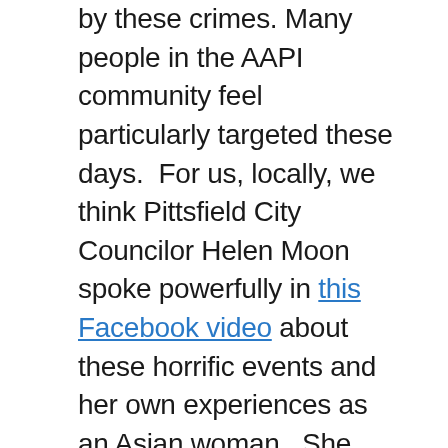by these crimes. Many people in the AAPI community feel particularly targeted these days.  For us, locally, we think Pittsfield City Councilor Helen Moon spoke powerfully in this Facebook video about these horrific events and her own experiences as an Asian woman.  She says:My heart is heavy this morning following last night's racially motivated mass shooting. Over the past year, we have seen a rise in hate crimes targeting AAPI. Over the course of a year, there have been 3800 racially motivated incidences reported. These acts are the result of unsubstantiated blaming of AAPI for Coronavirus pandemic.  I am calling on my fellow local electeds and state leaders to join me in condemning anti-Asian racism and supporting our local AAPI during these times We